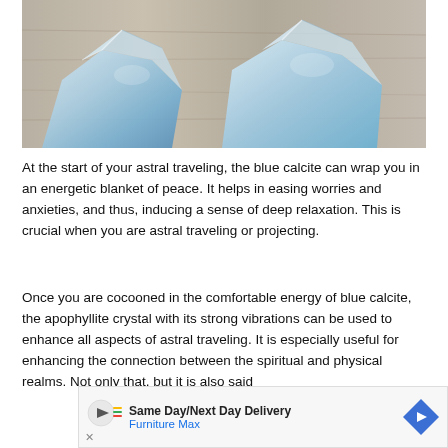[Figure (photo): Two rough blue calcite crystals placed on a weathered grey wooden surface, photographed from above.]
At the start of your astral traveling, the blue calcite can wrap you in an energetic blanket of peace. It helps in easing worries and anxieties, and thus, inducing a sense of deep relaxation. This is crucial when you are astral traveling or projecting.
Once you are cocooned in the comfortable energy of blue calcite, the apophyllite crystal with its strong vibrations can be used to enhance all aspects of astral traveling. It is especially useful for enhancing the connection between the spiritual and physical realms. Not only that, but it is also said
[Figure (other): Advertisement banner: Same Day/Next Day Delivery – Furniture Max, with a blue diamond-shaped arrow icon on the right and a play button icon with company logo on the left.]